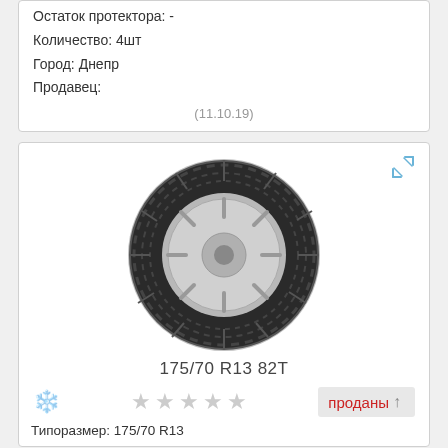Остаток протектора: -
Количество: 4шт
Город: Днепр
Продавец:
(11.10.19)
[Figure (photo): Photo of a car tire - 175/70 R13 82T]
175/70 R13 82T
проданы
Типоразмер: 175/70 R13